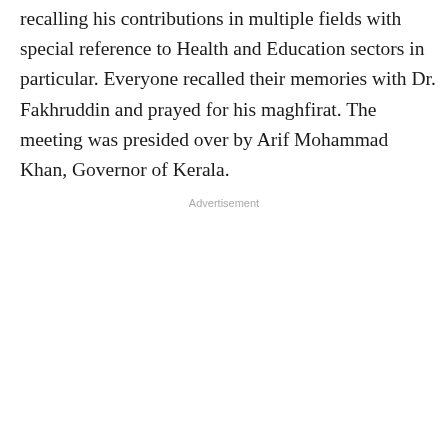recalling his contributions in multiple fields with special reference to Health and Education sectors in particular. Everyone recalled their memories with Dr. Fakhruddin and prayed for his maghfirat. The meeting was presided over by Arif Mohammad Khan, Governor of Kerala.
Advertisement